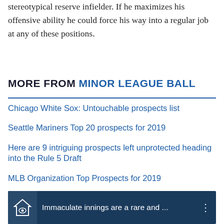stereotypical reserve infielder. If he maximizes his offensive ability he could force his way into a regular job at any of these positions.
MORE FROM MINOR LEAGUE BALL
Chicago White Sox: Untouchable prospects list
Seattle Mariners Top 20 prospects for 2019
Here are 9 intriguing prospects left unprotected heading into the Rule 5 Draft
MLB Organization Top Prospects for 2019
Cincinnati Reds Top 20 prospects for 2019
Seattle Mariners preliminary prospect grade breakdown
[Figure (screenshot): Video thumbnail with dark blue background showing a baseball player. Icon of a house with an eye on the left. Text reads: Immaculate innings are a rare and ...]